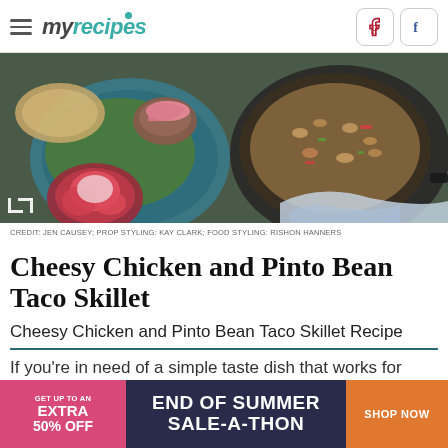myrecipes
[Figure (photo): Overhead view of cheesy chicken and pinto bean taco skillet dish with radishes, greens, and toppings]
CREDIT: JEN CAUSEY; PROP STYLING: KAY CLARK; FOOD STYLING: RISHON HANNERS
Cheesy Chicken and Pinto Bean Taco Skillet
Cheesy Chicken and Pinto Bean Taco Skillet Recipe
If you're in need of a simple taste dish that works for a...limited
[Figure (infographic): Advertisement banner: GET UP TO AN EXTRA 50% OFF - END OF SUMMER SALE-A-THON - SHOP NOW]